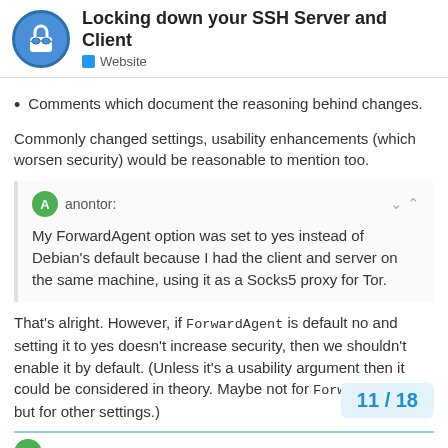Locking down your SSH Server and Client | Website
Comments which document the reasoning behind changes.
Commonly changed settings, usability enhancements (which worsen security) would be reasonable to mention too.
anontor:
My ForwardAgent option was set to yes instead of Debian's default because I had the client and server on the same machine, using it as a Socks5 proxy for Tor.
That's alright. However, if ForwardAgent is default no and setting it to yes doesn't increase security, then we shouldn't enable it by default. (Unless it's a usability argument then it could be considered in theory. Maybe not for ForwardAgent but for other settings.)
anontor:
11 / 18